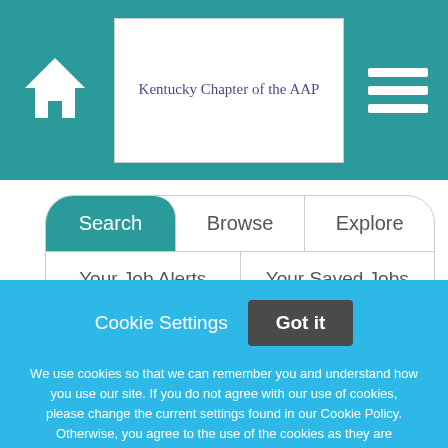Kentucky Chapter of the AAP
Search
Browse
Explore
Your Job Alerts
Your Saved Jobs
Keywords
Cookie Settings
Got it
We use cookies so that we can remember you and understand how you use our site. If you do not agree with our use of cookies, please change the current settings found in our Cookie Policy. Otherwise, you agree to the use of the cookies as they are currently set.